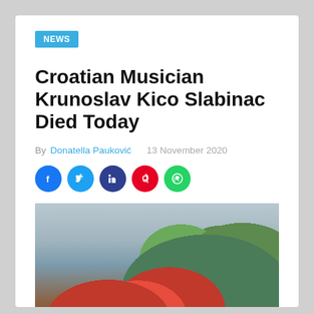NEWS
Croatian Musician Krunoslav Kico Slabinac Died Today
By Donatella Pauković   13 November 2020
[Figure (illustration): Social media share icons: Facebook (blue), Twitter (light blue), LinkedIn (dark blue), Pinterest (red), WhatsApp (green)]
[Figure (photo): A red rose laid on a stone surface with green leaves in the background — a memorial/funeral image]